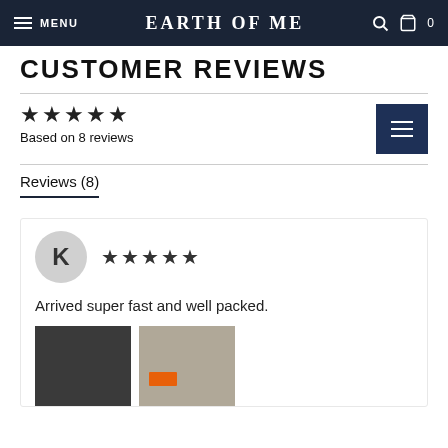MENU   EARTH OF ME   0
CUSTOMER REVIEWS
★★★★★
Based on 8 reviews
Reviews (8)
Arrived super fast and well packed.